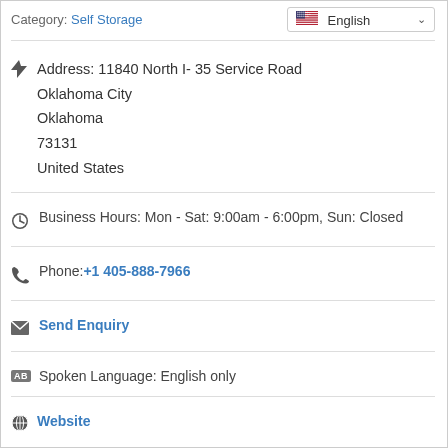Category: Self Storage
Address: 11840 North I- 35 Service Road
Oklahoma City
Oklahoma
73131
United States
Business Hours: Mon - Sat: 9:00am - 6:00pm, Sun: Closed
Phone: +1 405-888-7966
Send Enquiry
Spoken Language: English only
Website